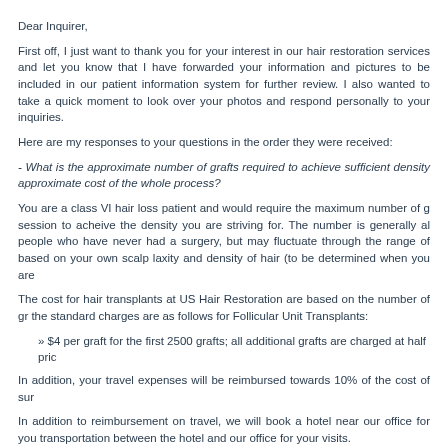Dear Inquirer,
First off, I just want to thank you for your interest in our hair restoration services and let you know that I have forwarded your information and pictures to be included in our patient information system for further review. I also wanted to take a quick moment to look over your photos and respond personally to your inquiries.
Here are my responses to your questions in the order they were received:
- What is the approximate number of grafts required to achieve sufficient density approximate cost of the whole process?
You are a class VI hair loss patient and would require the maximum number of g session to acheive the density you are striving for. The number is generally al people who have never had a surgery, but may fluctuate through the range of based on your own scalp laxity and density of hair (to be determined when you are
The cost for hair transplants at US Hair Restoration are based on the number of gr the standard charges are as follows for Follicular Unit Transplants:
» $4 per graft for the first 2500 grafts; all additional grafts are charged at half pric
In addition, your travel expenses will be reimbursed towards 10% of the cost of sur
In addition to reimbursement on travel, we will book a hotel near our office for you transportation between the hotel and our office for your visits.
Lastly, we also have a standby program available for anyone which a flexible sche to book their surgery date within 7-10 days of the procedure itself (visit us at www.u for more information on that offer).